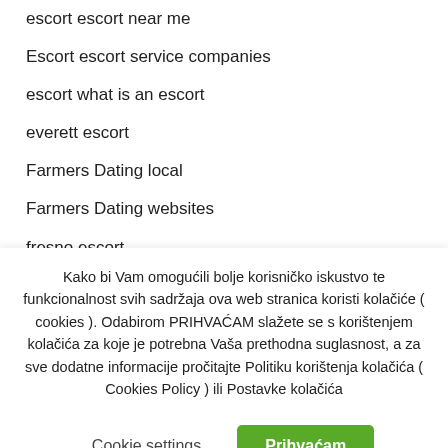escort escort near me
Escort escort service companies
escort what is an escort
everett escort
Farmers Dating local
Farmers Dating websites
fresno escort
frisco escort index
Kako bi Vam omogućili bolje korisničko iskustvo te funkcionalnost svih sadržaja ova web stranica koristi kolačiće ( cookies ). Odabirom PRIHVAĆAM slažete se s korištenjem kolačića za koje je potrebna Vaša prethodna suglasnost, a za sve dodatne informacije pročitajte Politiku korištenja kolačića ( Cookies Policy ) ili Postavke kolačića
Cookie settings
Prihvaćam